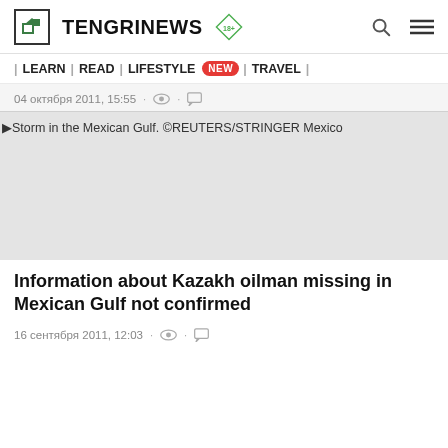TENGRINEWS 18+
| LEARN | READ | LIFESTYLE NEW | TRAVEL |
04 октября 2011, 15:55
[Figure (photo): Storm in the Mexican Gulf. ©REUTERS/STRINGER Mexico — grey placeholder image with caption text visible]
Information about Kazakh oilman missing in Mexican Gulf not confirmed
16 сентября 2011, 12:03